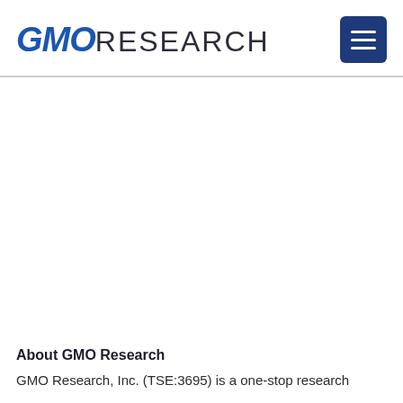GMO RESEARCH
About GMO Research
GMO Research, Inc. (TSE:3695) is a one-stop research